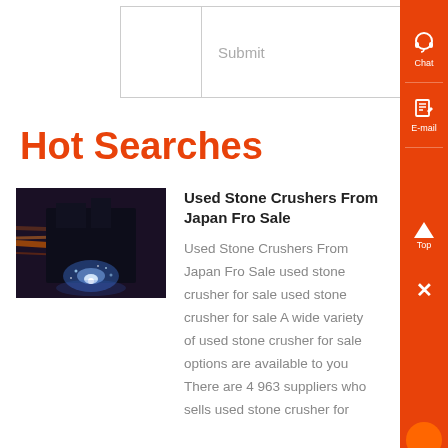|  | Submit |
Hot Searches
[Figure (photo): Industrial stone crusher machine operating at night with blue light sparks]
Used Stone Crushers From Japan Fro Sale
Used Stone Crushers From Japan Fro Sale used stone crusher for sale used stone crusher for sale A wide variety of used stone crusher for sale options are available to you There are 4 963 suppliers who sells used stone crusher for